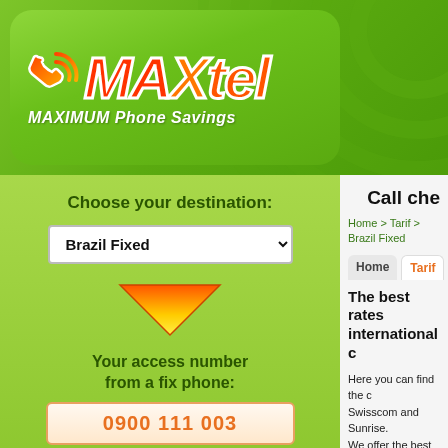[Figure (logo): MAXtel logo with phone handset icon and tagline MAXIMUM Phone Savings on green rounded rectangle background]
Choose your destination:
Brazil Fixed
[Figure (illustration): Orange/yellow downward-pointing arrow]
Your access number from a fix phone:
0900 111 003
Tarif:
Price from a landline phone
Call che
Home > Tarif > Brazil Fixed
Home
Tarif
The best rates international c
Here you can find the c Swisscom and Sunrise. We offer the best tariffs Brazil, France, Germa Please choose the cou For further detailed info NB: You are charged fr